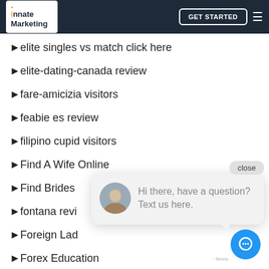innate Marketing | GET STARTED
elite singles vs match click here
elite-dating-canada review
fare-amicizia visitors
feabie es review
filipino cupid visitors
Find A Wife Online
Find Brides
fontana revi…
Foreign Lad…
Forex Education
Forex Handel
Forex Reviews
[Figure (screenshot): Chat popup with avatar photo of a man, message 'Hi there, have a question? Text us here.' and a close button, plus a blue chat icon button in the lower right corner.]